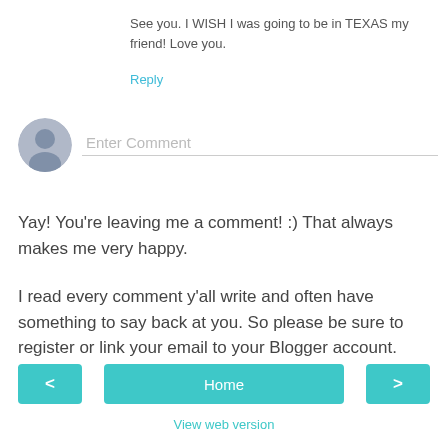See you. I WISH I was going to be in TEXAS my friend! Love you.
Reply
[Figure (illustration): User avatar placeholder icon — grey circle with silhouette of a person]
Enter Comment
Yay! You're leaving me a comment! :) That always makes me very happy.
I read every comment y'all write and often have something to say back at you. So please be sure to register or link your email to your Blogger account. Thanks!
< Home >
View web version